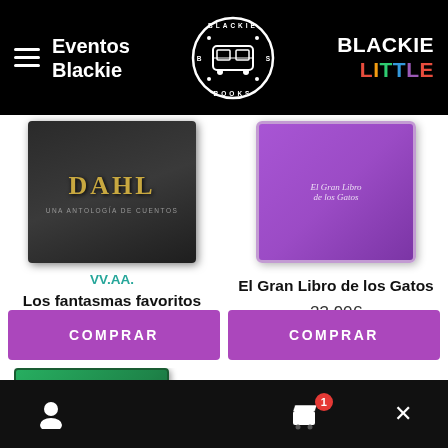Eventos Blackie | Blackie Books logo | BLACKIE LITTLE
[Figure (photo): Book cover: Los fantasmas favoritos de Roald Dahl - dark anthology cover]
VV.AA.
Los fantasmas favoritos de Roald Dahl
21,00€
[Figure (photo): Book cover: El Gran Libro de los Gatos - purple cat book]
El Gran Libro de los Gatos
23,90€
COMPRAR
COMPRAR
[Figure (photo): Partially visible green book cover at bottom]
User account icon | Cart icon with badge 1 | Close X